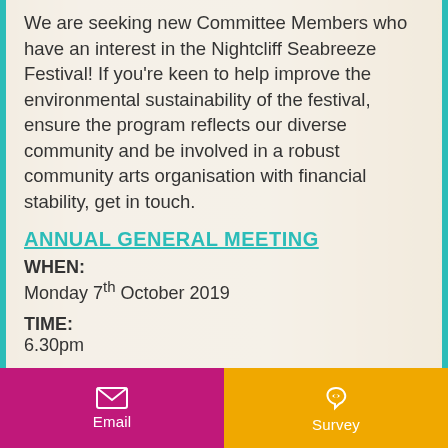We are seeking new Committee Members who have an interest in the Nightcliff Seabreeze Festival! If you're keen to help improve the environmental sustainability of the festival, ensure the program reflects our diverse community and be involved in a robust community arts organisation with financial stability, get in touch.
ANNUAL GENERAL MEETING
WHEN:
Monday 7th October 2019
TIME:
6.30pm
WHERE:
Nightcliff Sports & Social Club, 11...